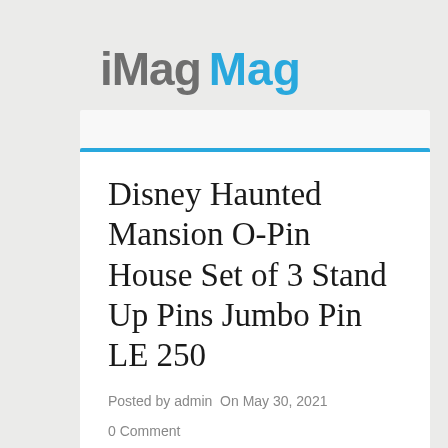iMag Mag
Disney Haunted Mansion O-Pin House Set of 3 Stand Up Pins Jumbo Pin LE 250
Posted by admin  On May 30, 2021
0 Comment
[Figure (photo): Preview image of Disney Haunted Mansion pins, partially visible at bottom of page]